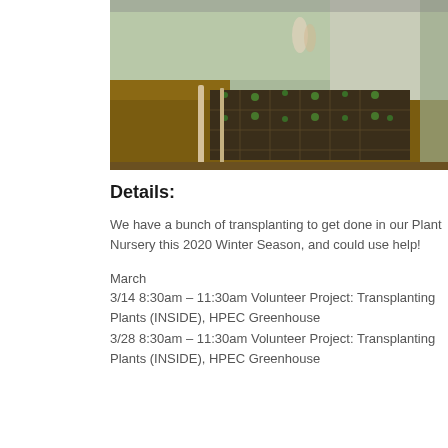[Figure (photo): Greenhouse interior showing rows of seedling trays with young plants growing in black plastic cell trays, along a covered tunnel structure. A person is visible in the background.]
Details:
We have a bunch of transplanting to get done in our Plant Nursery this 2020 Winter Season, and could use help!
March
3/14 8:30am – 11:30am Volunteer Project: Transplanting Plants (INSIDE), HPEC Greenhouse
3/28 8:30am – 11:30am Volunteer Project: Transplanting Plants (INSIDE), HPEC Greenhouse